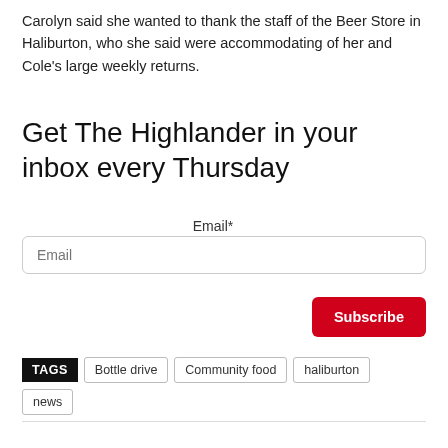Carolyn said she wanted to thank the staff of the Beer Store in Haliburton, who she said were accommodating of her and Cole’s large weekly returns.
Get The Highlander in your inbox every Thursday
Email*
Email
Subscribe
TAGS  Bottle drive  Community food  haliburton  news